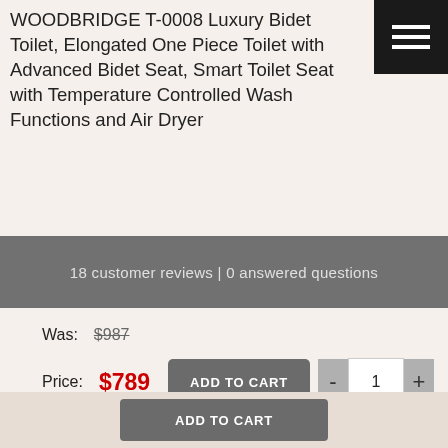WOODBRIDGE T-0008 Luxury Bidet Toilet, Elongated One Piece Toilet with Advanced Bidet Seat, Smart Toilet Seat with Temperature Controlled Wash Functions and Air Dryer
18 customer reviews | 0 answered questions
Was: $987
Price: $789
(Free Shipping)
Free Shipping Within U.S. Delivery takes 5 to 10 days ,Excludes: Alaska/Hawaii, US Protectorates, APO/FPO.